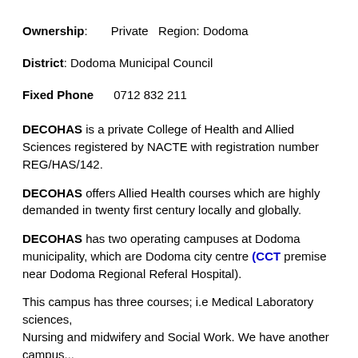Ownership: Private  Region: Dodoma
District: Dodoma Municipal Council
Fixed Phone    0712 832 211
DECOHAS is a private College of Health and Allied Sciences registered by NACTE with registration number REG/HAS/142.
DECOHAS offers Allied Health courses which are highly demanded in twenty first century locally and globally.
DECOHAS has two operating campuses at Dodoma municipality, which are Dodoma city centre (CCT premise near Dodoma Regional Referal Hospital).
This campus has three courses; i.e Medical Laboratory sciences, Nursing and midwifery and Social Work. We have another campus...